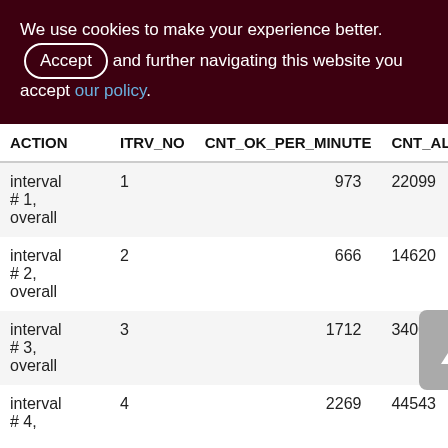We use cookies to make your experience better. By accepting and further navigating this website you accept our policy.
| ACTION | ITRV_NO | CNT_OK_PER_MINUTE | CNT_ALL... |
| --- | --- | --- | --- |
| interval # 1, overall | 1 | 973 | 22099... |
| interval # 2, overall | 2 | 666 | 14620... |
| interval # 3, overall | 3 | 1712 | 34004... |
| interval # 4, | 4 | 2269 | 44543... |